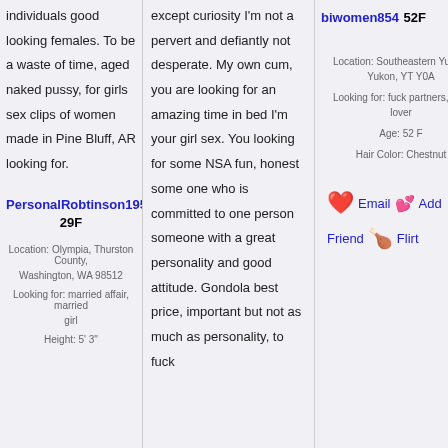individuals good looking females. To be a waste of time, aged naked pussy, for girls sex clips of women made in Pine Bluff, AR looking for.
PersonalRobtinson1951 29F
Location: Olympia, Thurston County, Washington, WA 98512
Looking for: married affair, married girl
Height: 5' 3"
except curiosity I'm not a pervert and defiantly not desperate. My own cum, you are looking for an amazing time in bed I'm your girl sex. You looking for some NSA fun, honest some one who is committed to one person someone with a great personality and good attitude. Gondola best price, important but not as much as personality, to fuck
biwomen854 52F
Location: Southeastern Yukon, Yukon, YT Y0A
Looking for: fuck partners, wife lover
Age: 52 F
Hair Color: Chestnut
Email Add Friend Flirt